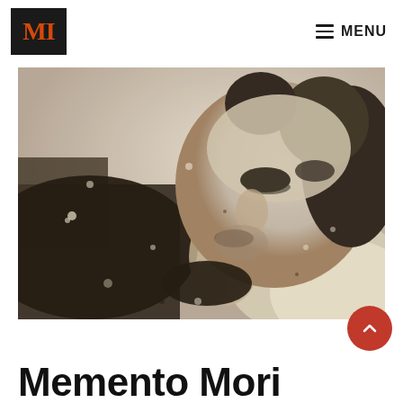MI MENU
[Figure (photo): Black and white historical post-mortem photograph of a person lying down with eyes closed, head tilted back, dark clothing visible, aged photographic print with dust spots]
Memento Mori